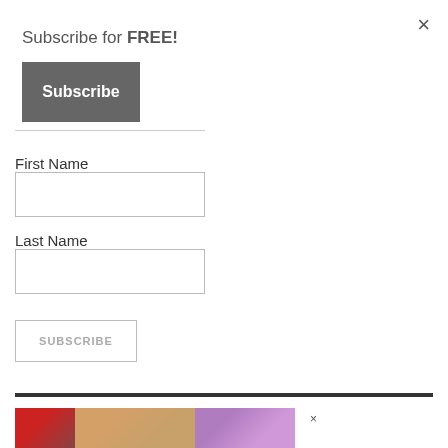×
Subscribe for FREE!
Subscribe
First Name
Last Name
SUBSCRIBE
[Figure (other): Advertisement banner with colorful graphic strips and close button]